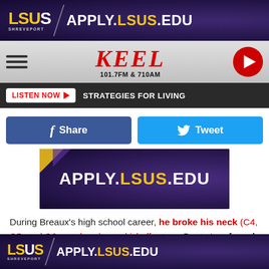[Figure (logo): LSUS Shreveport top banner ad with text APPLY.LSUS.EDU on purple background]
[Figure (logo): KEEL 101.7FM and 710AM radio station navigation bar with hamburger menu and play button]
[Figure (screenshot): Listen Now button and Strategies For Living text on dark bar]
[Figure (infographic): Facebook Share and Twitter Tweet social share buttons]
[Figure (logo): APPLY.LSUS.EDU advertisement banner on purple background]
During Breaux's high school career, he broke his neck (C4, C5, and C6 vertebrae) on a kickoff return. Doctor's referred to Breaux as a "miracle", because he was neurologically fine after the injury. Some said he should have died on the field
[Figure (logo): LSUS Shreveport bottom banner ad with text APPLY.LSUS.EDU on purple background]